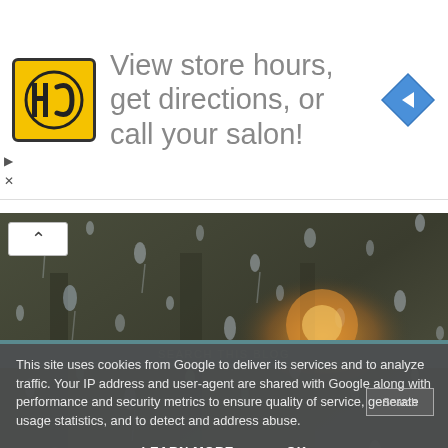[Figure (infographic): Advertisement banner for HC salon with yellow HC logo, text 'View store hours, get directions, or call your salon!', and blue diamond navigation icon on the right.]
[Figure (photo): Photograph of raindrops on a window glass with blurred trees and a warm light glow in the background.]
WHERE TO GO ON RAINY DAYS IN ESSEX - INDOOR ACTIVITIES FOR CHILDREN
SEARCH THIS BLOG
This site uses cookies from Google to deliver its services and to analyze traffic. Your IP address and user-agent are shared with Google along with performance and security metrics to ensure quality of service, generate usage statistics, and to detect and address abuse.
LEARN MORE    OK